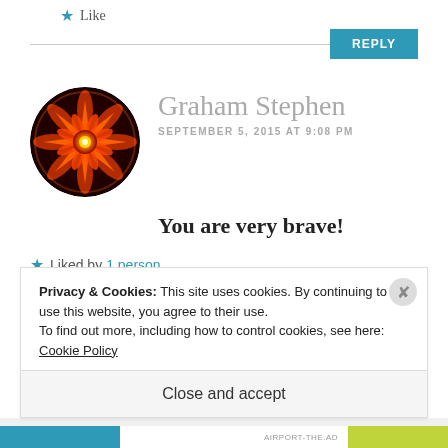★ Like
REPLY
[Figure (illustration): Circular avatar with dark red/orange kaleidoscope mandala pattern on black background]
Graham Stephen
SEPTEMBER 5, 2015 AT 9:08 PM
You are very brave!
★ Liked by 1 person
REPLY
Privacy & Cookies: This site uses cookies. By continuing to use this website, you agree to their use.
To find out more, including how to control cookies, see here: Cookie Policy
Close and accept